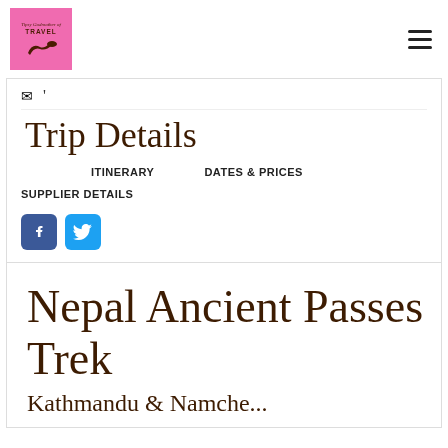[Figure (logo): Pink square logo with cursive text 'Tipsy Godmother of Travel' and high-heel shoe illustration]
Trip Details
ITINERARY
DATES & PRICES
SUPPLIER DETAILS
[Figure (illustration): Facebook and Twitter social media icons]
Nepal Ancient Passes Trek